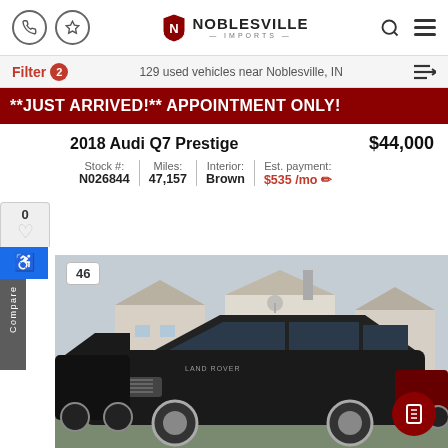Noblesville Imports
Filter 2 · 129 used vehicles near Noblesville, IN
**JUST ARRIVED!** APPOINTMENT ONLY!
2018 Audi Q7 Prestige  $44,000
| Stock # | Miles: | Interior: | Est. payment: |
| --- | --- | --- | --- |
| N026844 | 47,157 | Brown | $535 /mo |
[Figure (photo): Black Land Rover SUV in a dealership lot with suburban houses in the background]